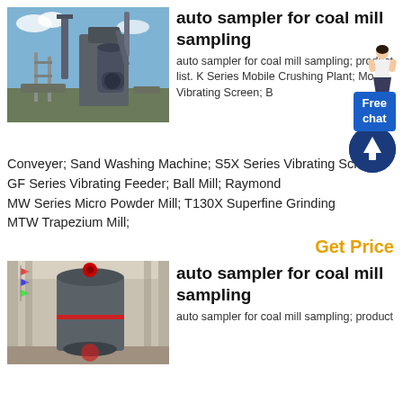[Figure (photo): Industrial equipment - coal mill / crushing plant outdoors with pipes and machinery against blue sky]
auto sampler for coal mill sampling
auto sampler for coal mill sampling; product list. K Series Mobile Crushing Plant; Mo Vibrating Screen; B Conveyer; Sand Washing Machine; S5X Series Vibrating Screen; GF Series Vibrating Feeder; Ball Mill; Raymond MW Series Micro Powder Mill; T130X Superfine Grinding MTW Trapezium Mill;
Get Price
[Figure (photo): Large industrial mill machine inside a warehouse/factory with decorative flags]
auto sampler for coal mill sampling
auto sampler for coal mill sampling; product